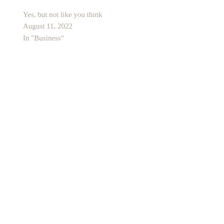Yes, but not like you think
August 11, 2022
In "Business"